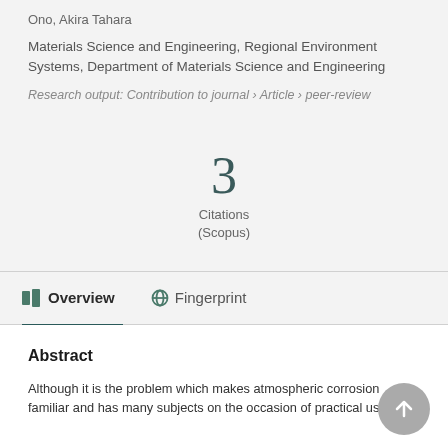Ono, Akira Tahara
Materials Science and Engineering, Regional Environment Systems, Department of Materials Science and Engineering
Research output: Contribution to journal › Article › peer-review
3
Citations
(Scopus)
Overview   Fingerprint
Abstract
Although it is the problem which makes atmospheric corrosion familiar and has many subjects on the occasion of practical use of